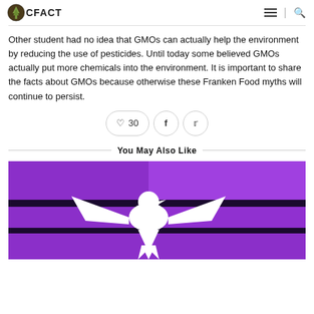CFACT
Other student had no idea that GMOs can actually help the environment by reducing the use of pesticides. Until today some believed GMOs actually put more chemicals into the environment. It is important to share the facts about GMOs because otherwise these Franken Food myths will continue to persist.
You May Also Like
[Figure (photo): Purple and black illustrated image with a white silhouette of an eagle or bird figure in the center]